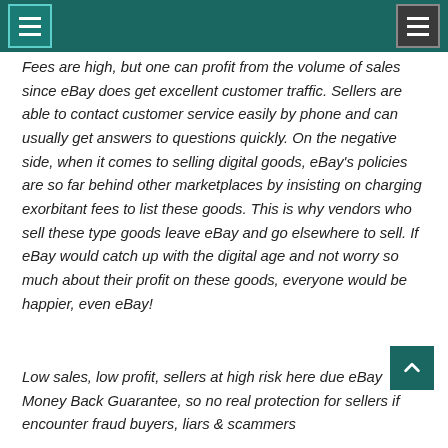Fees are high, but one can profit from the volume of sales since eBay does get excellent customer traffic. Sellers are able to contact customer service easily by phone and can usually get answers to questions quickly. On the negative side, when it comes to selling digital goods, eBay’s policies are so far behind other marketplaces by insisting on charging exorbitant fees to list these goods. This is why vendors who sell these type goods leave eBay and go elsewhere to sell. If eBay would catch up with the digital age and not worry so much about their profit on these goods, everyone would be happier, even eBay!
Low sales, low profit, sellers at high risk here due eBay Money Back Guarantee, so no real protection for sellers if encounter fraud buyers, liars & scammers